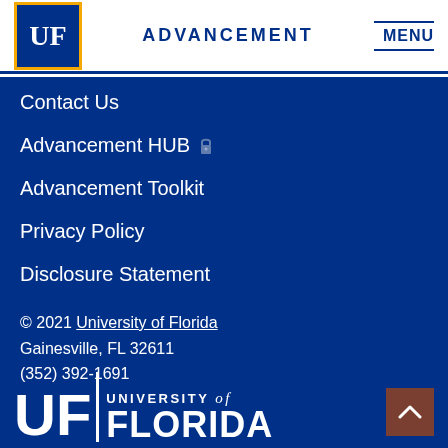UF ADVANCEMENT MENU
Contact Us
Advancement HUB 🔒
Advancement Toolkit
Privacy Policy
Disclosure Statement
© 2021 University of Florida
Gainesville, FL 32611
(352) 392-1691
[Figure (logo): University of Florida wordmark logo with UF letters, vertical divider, and 'UNIVERSITY of FLORIDA' text in white on dark blue background]